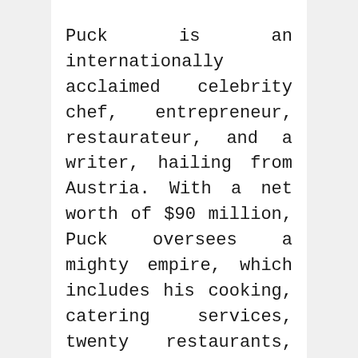Puck is an internationally acclaimed celebrity chef, entrepreneur, restaurateur, and a writer, hailing from Austria. With a net worth of $90 million, Puck oversees a mighty empire, which includes his cooking, catering services, twenty restaurants, books, cooking products and several packaged eatables.
His famous books include “Modern French Cooking for the American Kitchen”, “Live, Love, Eat”, “Adventures in the